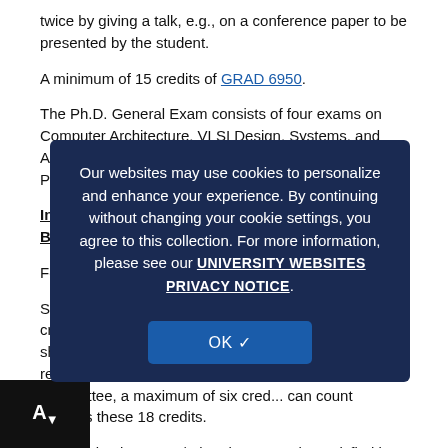twice by giving a talk, e.g., on a conference paper to be presented by the student.
A minimum of 15 credits of GRAD 6950.
The Ph.D. General Exam consists of four exams on Computer Architecture, VLSI Design, Systems, and Algorithms. After the Plan of Study is approved, a Ph.D. Dissertation Prospectus should be submitted.
Information..., and Biosys... Programs:
For Stud...
Students must... appropriate graduate... credits may be... credits of the three basic courses (listed below) will be shown on the Plan of Study, but are additional to the 18 required. With the approval of the student's Advisory Committee, a maximum of six cred... can count towards these 18 credits.
The foreign language/related area can be satisfied in two ways, either by six credits of...
Our websites may use cookies to personalize and enhance your experience. By continuing without changing your cookie settings, you agree to this collection. For more information, please see our UNIVERSITY WEBSITES PRIVACY NOTICE.